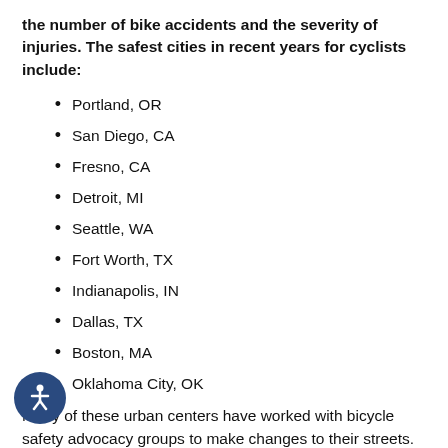the number of bike accidents and the severity of injuries. The safest cities in recent years for cyclists include:
Portland, OR
San Diego, CA
Fresno, CA
Detroit, MI
Seattle, WA
Fort Worth, TX
Indianapolis, IN
Dallas, TX
Boston, MA
Oklahoma City, OK
Many of these urban centers have worked with bicycle safety advocacy groups to make changes to their streets. For instance, Portland took measures to calm traffic and reduce the speed limits, created more bike lanes on their busy highways, and made bike parking more easily accessible.